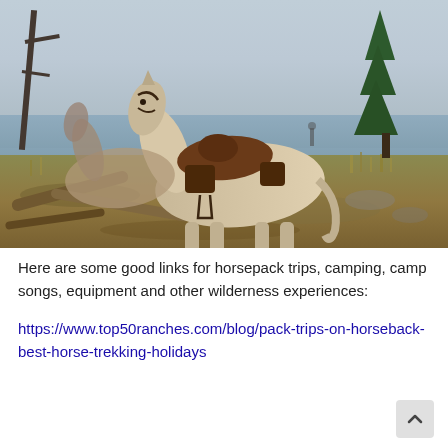[Figure (photo): A saddled horse standing near a lakeside shore with driftwood, dry grass, and a pine tree. Blue hazy sky and water visible in the background.]
Here are some good links for horsepack trips, camping, camp songs, equipment and other wilderness experiences:
https://www.top50ranches.com/blog/pack-trips-on-horseback-best-horse-trekking-holidays